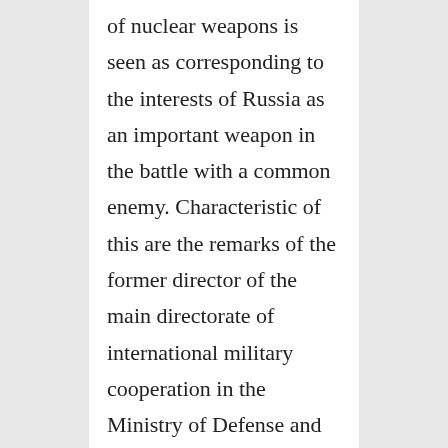of nuclear weapons is seen as corresponding to the interests of Russia as an important weapon in the battle with a common enemy. Characteristic of this are the remarks of the former director of the main directorate of international military cooperation in the Ministry of Defense and now the president of the